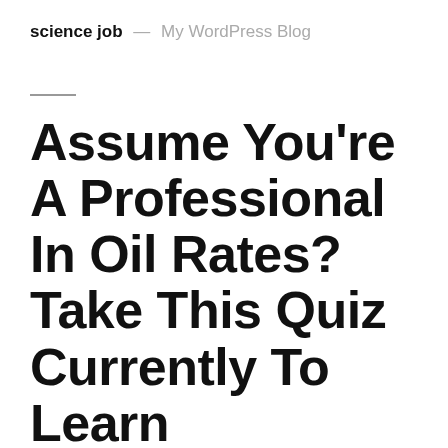science job — My WordPress Blog
Assume You're A Professional In Oil Rates? Take This Quiz Currently To Learn
admin   June 10, 2022   Leave a comment